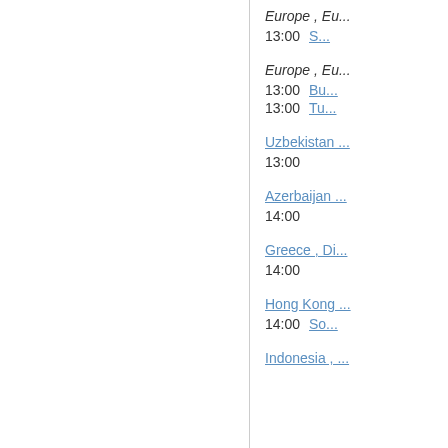Europe , Eu...
13:00   S...
Europe , Eu...
13:00   Bu...
13:00   Tu...
Uzbekistan ...
13:00
Azerbaijan ...
14:00
Greece , Di...
14:00
Hong Kong ...
14:00   So...
Indonesia , ...